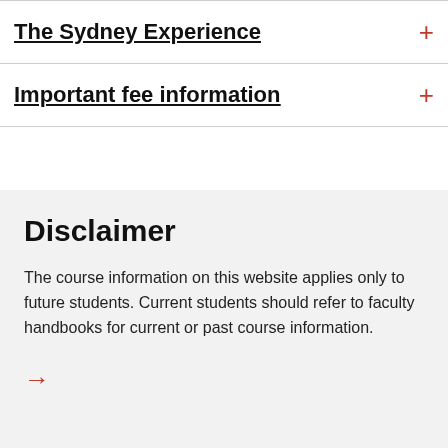The Sydney Experience
Important fee information
Disclaimer
The course information on this website applies only to future students. Current students should refer to faculty handbooks for current or past course information.